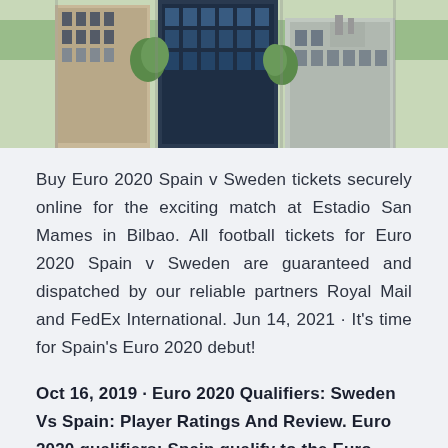[Figure (photo): Aerial/street-level photograph of urban skyscrapers and city buildings viewed from above, showing multiple glass and concrete high-rise buildings with rooftop details and green trees visible between structures.]
Buy Euro 2020 Spain v Sweden tickets securely online for the exciting match at Estadio San Mames in Bilbao. All football tickets for Euro 2020 Spain v Sweden are guaranteed and dispatched by our reliable partners Royal Mail and FedEx International. Jun 14, 2021 · It's time for Spain's Euro 2020 debut!
Oct 16, 2019 · Euro 2020 Qualifiers: Sweden Vs Spain: Player Ratings And Review. Euro 2020 qualifiers: Spain qualify to the Euro 2020 after a 1-1 draw with Sweden sawy from home. Rodrigo scored